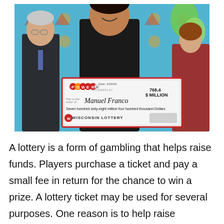[Figure (photo): A man holding a large Powerball check for $768.4 million made out to Manuel Franco, presented by Wisconsin Lottery officials. The check is dated 4/23/20. Two people flank him — an older man in a suit on the left and a woman on the right. Green balloons are visible in the background.]
A lottery is a form of gambling that helps raise funds. Players purchase a ticket and pay a small fee in return for the chance to win a prize. A lottery ticket may be used for several purposes. One reason is to help raise awareness about a specific cause. Another is